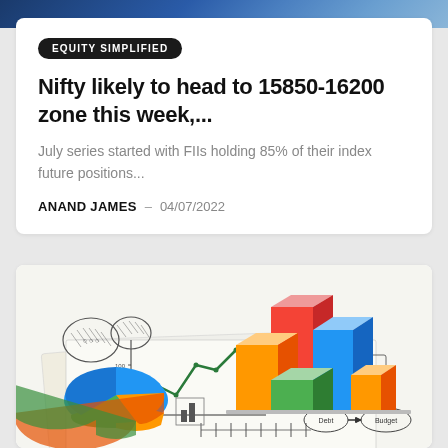EQUITY SIMPLIFIED
Nifty likely to head to 15850-16200 zone this week,...
July series started with FIIs holding 85% of their index future positions...
ANAND JAMES – 04/07/2022
[Figure (illustration): 3D financial charts illustration showing colorful bar charts (red, blue, orange, green), a pie chart (blue, orange, green), line graphs on paper, and financial planning diagrams with labels 'Debt' and 'Budget']